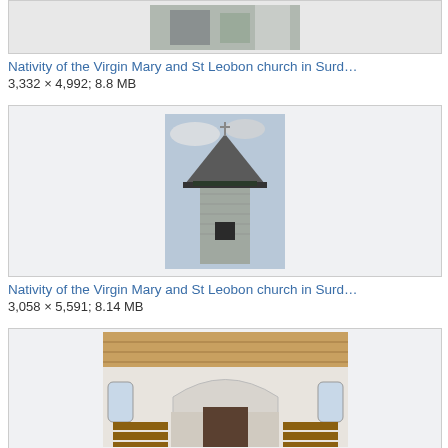[Figure (photo): Partial view of a building/church exterior, cropped at top]
Nativity of the Virgin Mary and St Leobon church in Surd…
3,332 × 4,992; 8.8 MB
[Figure (photo): Church bell tower with pointed slate roof against cloudy sky]
Nativity of the Virgin Mary and St Leobon church in Surd…
3,058 × 5,591; 8.14 MB
[Figure (photo): Interior of a church showing nave, wooden pews, and altar with arched ceiling]